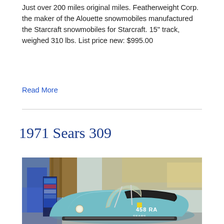Just over 200 miles original miles. Featherweight Corp. the maker of the Alouette snowmobiles manufactured the Starcraft snowmobiles for Starcraft. 15" track, weighed 310 lbs. List price new: $995.00
Read More
1971 Sears 309
[Figure (photo): Photo of a light blue 1971 Sears 309 snowmobile with windshield and black seat, labeled '458 RA' and 'SEARS', displayed in what appears to be a shop or garage with a brochure stand visible on the left side.]